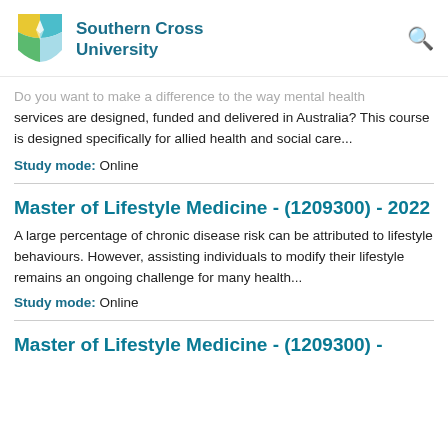Southern Cross University
Do you want to make a difference to the way mental health services are designed, funded and delivered in Australia? This course is designed specifically for allied health and social care...
Study mode: Online
Master of Lifestyle Medicine - (1209300) - 2022
A large percentage of chronic disease risk can be attributed to lifestyle behaviours. However, assisting individuals to modify their lifestyle remains an ongoing challenge for many health...
Study mode: Online
Master of Lifestyle Medicine - (1209300) -